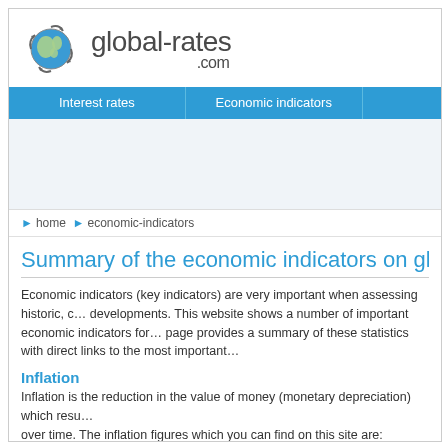[Figure (logo): global-rates.com logo with globe icon and site name]
Interest rates | Economic indicators
home > economic-indicators
Summary of the economic indicators on globa...
Economic indicators (key indicators) are very important when assessing historic, c... developments. This website shows a number of important economic indicators for... page provides a summary of these statistics with direct links to the most important...
Inflation
Inflation is the reduction in the value of money (monetary depreciation) which resu... over time. The inflation figures which you can find on this site are: